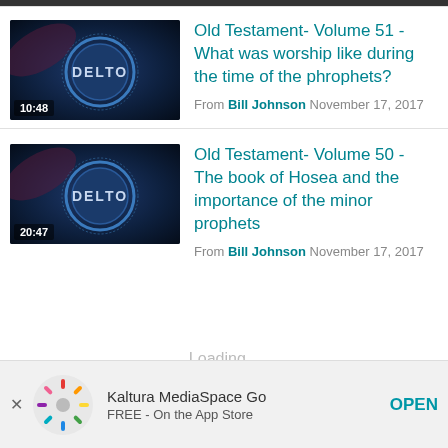[Figure (screenshot): Video thumbnail showing DELTO logo badge on dark blue background with timestamp 10:48]
Old Testament- Volume 51 - What was worship like during the time of the phrophets?
From Bill Johnson November 17, 2017
[Figure (screenshot): Video thumbnail showing DELTO logo badge on dark blue background with timestamp 20:47]
Old Testament- Volume 50 - The book of Hosea and the importance of the minor prophets
From Bill Johnson November 17, 2017
Loading...
[Figure (logo): Kaltura MediaSpace Go app icon — colorful spinning loader dots]
Kaltura MediaSpace Go
FREE - On the App Store